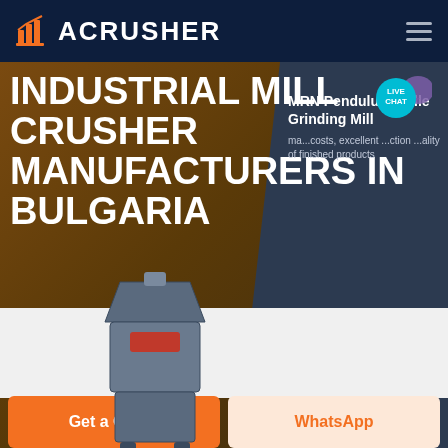ACRUSHER
INDUSTRIAL MILL CRUSHER MANUFACTURERS IN BULGARIA
[Figure (screenshot): Hero banner of ACRUSHER website showing industrial mill crusher machine with MRN Pendulum Roller Grinding Mill product card on right, live chat bubble, brown and navy background]
MRN Pendulum Roller Grinding Mill
ma...costs, excellent ...ction ...ality of finished products
HOME / PRODUCTS
Get a Quote
WhatsApp